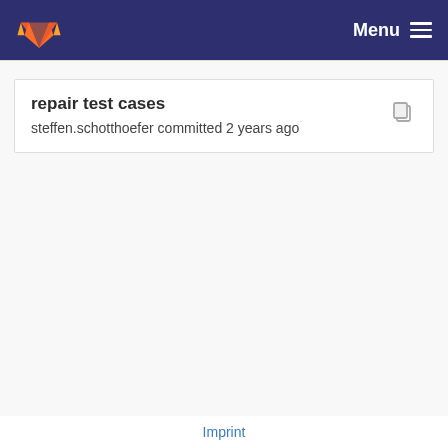Menu
repair test cases
steffen.schotthoefer committed 2 years ago
Imprint